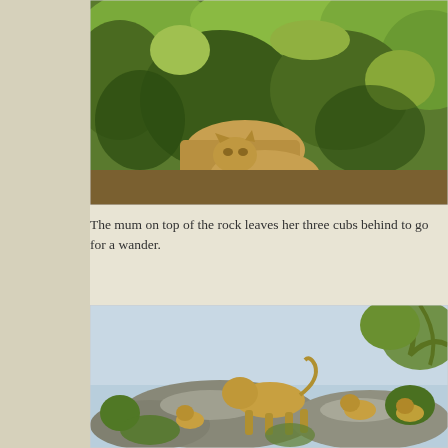[Figure (photo): A lioness partially hidden among dense green bushes and shrubs on a rocky hillside, looking toward the camera.]
The mum on top of the rock leaves her three cubs behind to go for a wander.
[Figure (photo): A lioness and three cubs on top of large rocks with trees and bushes, set against a pale blue sky.]